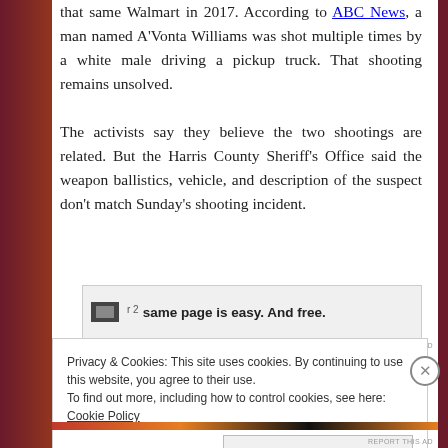that same Walmart in 2017. According to ABC News, a man named A'Vonta Williams was shot multiple times by a white male driving a pickup truck. That shooting remains unsolved.
The activists say they believe the two shootings are related. But the Harris County Sheriff's Office said the weapon ballistics, vehicle, and description of the suspect don't match Sunday's shooting incident.
[Figure (screenshot): Advertisement banner with icon and bold text: 'same page is easy. And free.' with 'REPORT THIS AD' label]
Privacy & Cookies: This site uses cookies. By continuing to use this website, you agree to their use. To find out more, including how to control cookies, see here: Cookie Policy
Close and accept